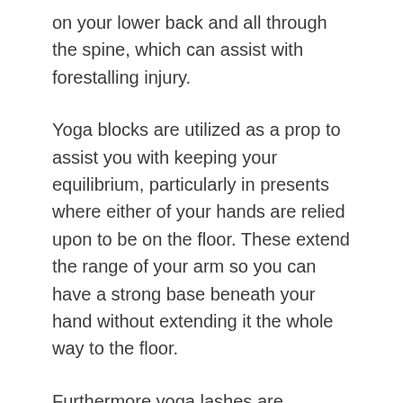on your lower back and all through the spine, which can assist with forestalling injury.
Yoga blocks are utilized as a prop to assist you with keeping your equilibrium, particularly in presents where either of your hands are relied upon to be on the floor. These extend the range of your arm so you can have a strong base beneath your hand without extending it the whole way to the floor.
Furthermore yoga lashes are additionally used to expand your range. They permit you to extend in a more legitimate way, and potentially farther than you could without the lash. Frequently these ties are slipped underneath the feet for standing or situated stretches, and are utilized to